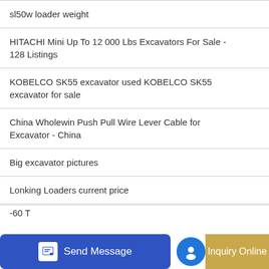sl50w loader weight
HITACHI Mini Up To 12 000 Lbs Excavators For Sale - 128 Listings
KOBELCO SK55 excavator used KOBELCO SK55 excavator for sale
China Wholewin Push Pull Wire Lever Cable for Excavator - China
Big excavator pictures
Lonking Loaders current price
220C excavator
for excavators